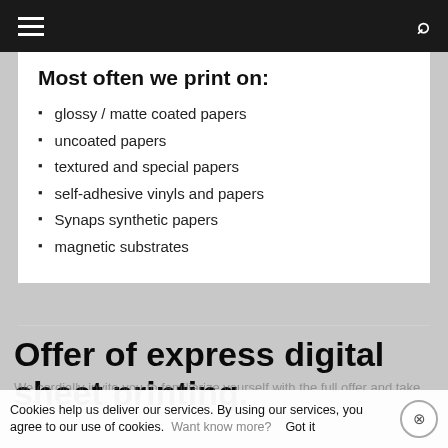Navigation bar with hamburger menu and search icon
Most often we print on:
glossy / matte coated papers
uncoated papers
textured and special papers
self-adhesive vinyls and papers
Synaps synthetic papers
magnetic substrates
Offer of express digital sheet printing.
Cookies help us deliver our services. By using our services, you agree to our use of cookies. Want know more? Got it